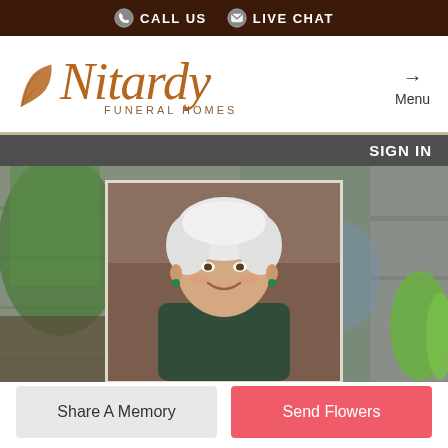CALL US  LIVE CHAT
[Figure (logo): Nitardy Funeral Homes logo with brown oak leaf icon and italic script text]
Menu
SIGN IN
[Figure (photo): Portrait photo of an elderly woman with white curly hair, smiling, overlaid on a garden background with plants and gardening gloves]
Share A Memory
Send Flowers